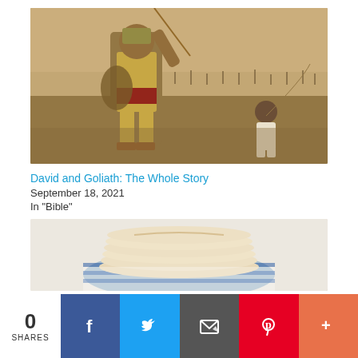[Figure (photo): Painting of the biblical scene of David and Goliath — a large armored warrior (Goliath) recoiling from a sling stone, with a smaller figure (David) in white kneeling in the background, battlefield with armies behind them]
David and Goliath: The Whole Story
September 18, 2021
In "Bible"
[Figure (photo): Stack of flatbreads or matzah on a blue and white striped cloth or plate]
0 SHARES  [Facebook] [Twitter] [Email] [Pinterest] [More]